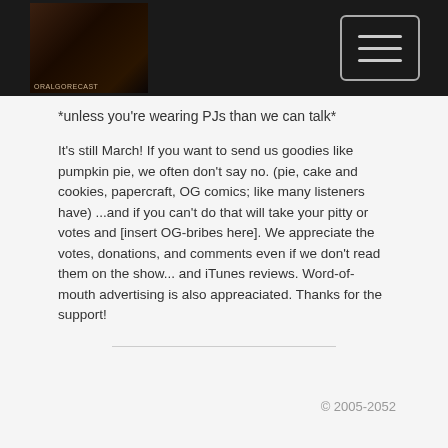OralGoreCast logo and hamburger menu
*unless you're wearing PJs than we can talk*
It's still March! If you want to send us goodies like pumpkin pie, we often don't say no. (pie, cake and cookies, papercraft, OG comics; like many listeners have) ...and if you can't do that will take your pitty or votes and [insert OG-bribes here]. We appreciate the votes, donations, and comments even if we don't read them on the show... and iTunes reviews. Word-of-mouth advertising is also appreaciated. Thanks for the support!
© 2005-2052